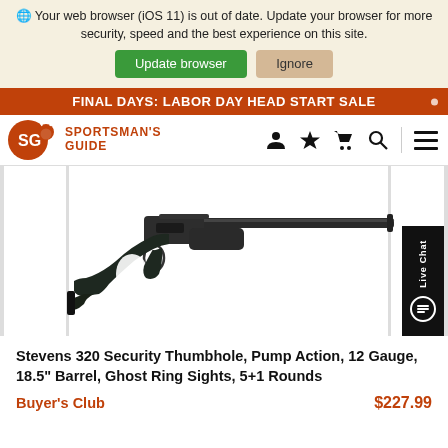Your web browser (iOS 11) is out of date. Update your browser for more security, speed and the best experience on this site.
Update browser   Ignore
FINAL DAYS: LABOR DAY HEAD START SALE
[Figure (logo): Sportsman's Guide logo with SG icon and text]
[Figure (photo): Stevens 320 Security Thumbhole pump action shotgun product photo on white background]
Stevens 320 Security Thumbhole, Pump Action, 12 Gauge, 18.5" Barrel, Ghost Ring Sights, 5+1 Rounds
Buyer's Club   $227.99